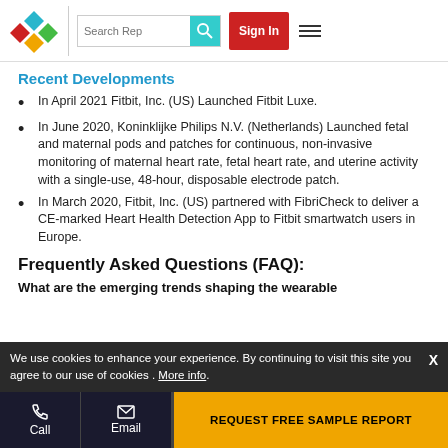Search Rep | Sign In
Recent Developments
In April 2021 Fitbit, Inc. (US) Launched Fitbit Luxe.
In June 2020, Koninklijke Philips N.V. (Netherlands) Launched fetal and maternal pods and patches for continuous, non-invasive monitoring of maternal heart rate, fetal heart rate, and uterine activity with a single-use, 48-hour, disposable electrode patch.
In March 2020, Fitbit, Inc. (US) partnered with FibriCheck to deliver a CE-marked Heart Health Detection App to Fitbit smartwatch users in Europe.
Frequently Asked Questions (FAQ):
We use cookies to enhance your experience. By continuing to visit this site you agree to our use of cookies . More info.
Call | Email | REQUEST FREE SAMPLE REPORT